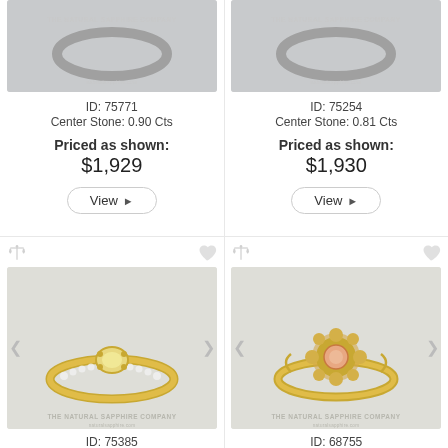[Figure (photo): Jewelry ring product image with watermark THE NATURAL SAPPHIRE COMPANY, top-left product]
ID: 75771
Center Stone: 0.90 Cts
Priced as shown:
$1,929
View ▶
[Figure (photo): Jewelry ring product image with watermark THE NATURAL SAPPHIRE COMPANY, top-right product]
ID: 75254
Center Stone: 0.81 Cts
Priced as shown:
$1,930
View ▶
[Figure (photo): Yellow gold ring with yellow sapphire center stone and diamond pavé band, THE NATURAL SAPPHIRE COMPANY watermark]
ID: 75385
[Figure (photo): Yellow gold floral halo ring with peach/padparadscha sapphire center stone, THE NATURAL SAPPHIRE COMPANY watermark]
ID: 68755